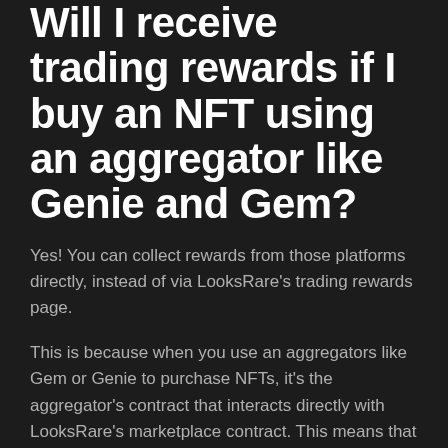Will I receive trading rewards if I buy an NFT using an aggregator like Genie and Gem?
Yes! You can collect rewards from those platforms directly, instead of via LooksRare's trading rewards page.
This is because when you use an aggregators like Gem or Genie to purchase NFTs, it's the aggregator's contract that interacts directly with LooksRare's marketplace contract. This means that volume generated is actually attributed to that contract address, along with any trading rewards.